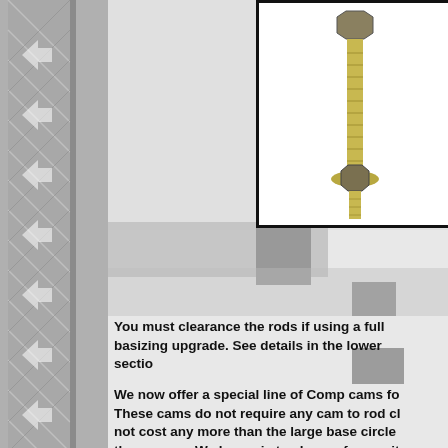[Figure (photo): Close-up product photo of a metal bolt/stud component with threaded ends, shown against white background with black border frame.]
You must clearance the rods if using a full base circle sizing upgrade. See details in the lower section.
We now offer a special line of Comp cams for this engine. These cams do not require any cam to rod clearance and do not cost any more than the large base circle cams. We recommend these cams. We have six to choose from, with profiles matching any of the other brands/profiles we have used.